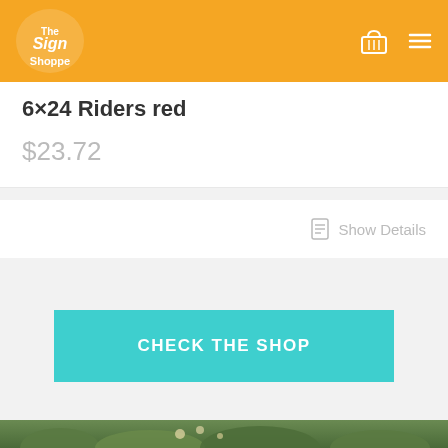The Sign Shoppe
6×24 Riders red
$23.72
Show Details
CHECK THE SHOP
[Figure (photo): Bottom strip with flowers and foliage]